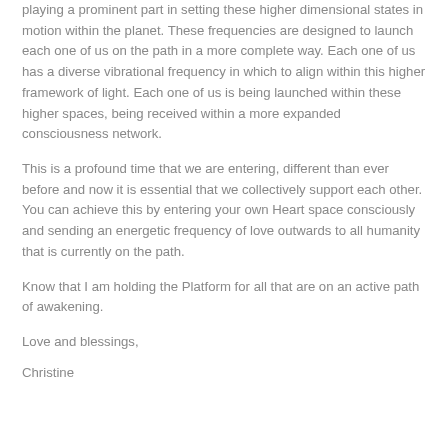playing a prominent part in setting these higher dimensional states in motion within the planet. These frequencies are designed to launch each one of us on the path in a more complete way. Each one of us has a diverse vibrational frequency in which to align within this higher framework of light. Each one of us is being launched within these higher spaces, being received within a more expanded consciousness network.
This is a profound time that we are entering, different than ever before and now it is essential that we collectively support each other. You can achieve this by entering your own Heart space consciously and sending an energetic frequency of love outwards to all humanity that is currently on the path.
Know that I am holding the Platform for all that are on an active path of awakening.
Love and blessings,
Christine